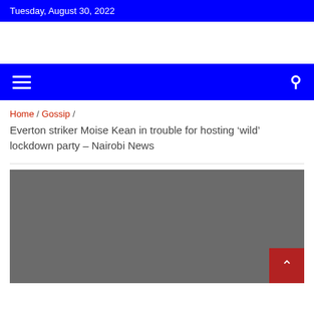Tuesday, August 30, 2022
[Figure (other): Navigation bar with hamburger menu icon and search icon on blue background]
Home / Gossip / Everton striker Moise Kean in trouble for hosting ‘wild’ lockdown party – Nairobi News
[Figure (photo): Article image placeholder — grey rectangle with a red scroll-to-top button in the bottom right corner]